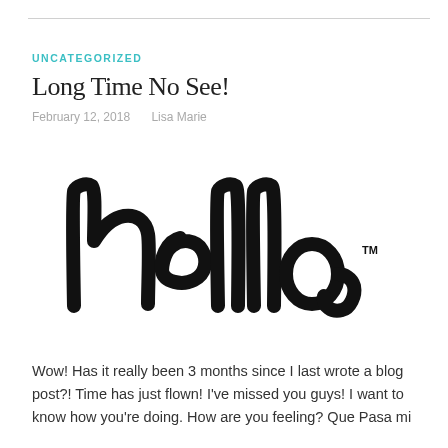UNCATEGORIZED
Long Time No See!
February 12, 2018    Lisa Marie
[Figure (logo): Black cursive 'hello' logo with trademark symbol]
Wow! Has it really been 3 months since I last wrote a blog post?! Time has just flown! I've missed you guys! I want to know how you're doing. How are you feeling? Que Pasa mi